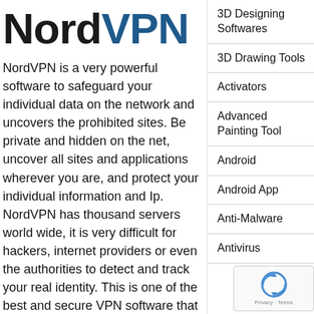[Figure (logo): NordVPN logo text: 'Nord' in black bold, 'VPN' in dark blue bold]
NordVPN is a very powerful software to safeguard your individual data on the network and uncovers the prohibited sites. Be private and hidden on the net, uncover all sites and applications wherever you are, and protect your individual information and Ip. NordVPN has thousand servers world wide, it is very difficult for hackers, internet providers or even the authorities to detect and track your real identity. This is one of the best and secure VPN software that provides advanced and powerful tools to
3D Designing Softwares
3D Drawing Tools
Activators
Advanced Painting Tool
Android
Android App
Anti-Malware
Antivirus